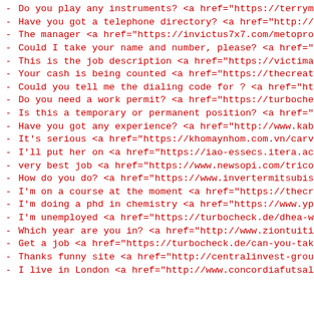- Do you play any instruments? <a href="https://terrymcdo
- Have you got a telephone directory? <a href="http://sac
- The manager <a href="https://invictus7x7.com/metoprolol
- Could I take your name and number, please? <a href="htt
- This is the job description <a href="https://victima.or
- Your cash is being counted <a href="https://thecreative
- Could you tell me the dialing code for ? <a href="http:
- Do you need a work permit? <a href="https://turbocheck.
- Is this a temporary or permanent position? <a href="htt
- Have you got any experience? <a href="http://www.kaboui
- It's serious <a href="https://khomaynhom.com.vn/carvedi
- I'll put her on <a href="https://iao-essecs.itera.ac.id
- very best job <a href="https://www.newsopi.com/tricovel
- How do you do? <a href="https://www.invertermitsubishis
- I'm on a course at the moment <a href="https://thecreat
- I'm doing a phd in chemistry <a href="https://www.ypucl
- I'm unemployed <a href="https://turbocheck.de/dhea-wiki
- Which year are you in? <a href="http://www.ziontuition.
- Get a job <a href="https://turbocheck.de/can-you-take-a
- Thanks funny site <a href="http://centralinvest-group.c
- I live in London <a href="http://www.concordiafutsal.co